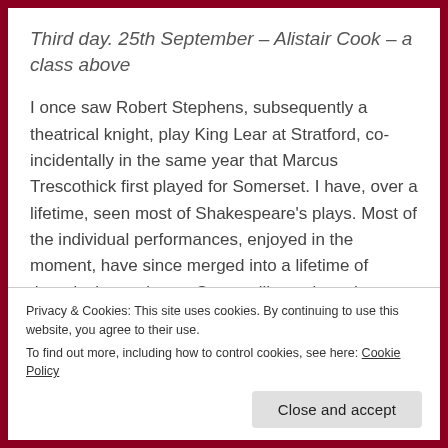Third day. 25th September – Alistair Cook – a class above
I once saw Robert Stephens, subsequently a theatrical knight, play King Lear at Stratford, co-incidentally in the same year that Marcus Trescothick first played for Somerset. I have, over a lifetime, seen most of Shakespeare's plays. Most of the individual performances, enjoyed in the moment, have since merged into a lifetime of theatrical experience. Some still stand out, but Robert Stephens' performance stands out above all. It was
Privacy & Cookies: This site uses cookies. By continuing to use this website, you agree to their use.
To find out more, including how to control cookies, see here: Cookie Policy
Close and accept